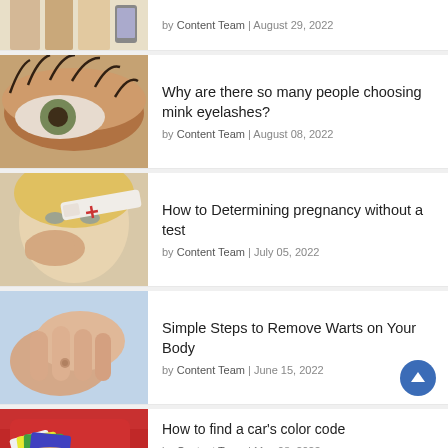[Figure (photo): Partial top of cropped image showing books/notebooks and a phone, cut off at top]
by Content Team | August 29, 2022
[Figure (photo): Close-up of eyelashes/eye with mink eyelashes]
Why are there so many people choosing mink eyelashes?
by Content Team | August 08, 2022
[Figure (photo): Woman holding a pregnancy test]
How to Determining pregnancy without a test
by Content Team | July 05, 2022
[Figure (photo): Close-up of hands/wrist showing a wart or skin blemish]
Simple Steps to Remove Warts on Your Body
by Content Team | June 15, 2022
[Figure (photo): Person holding color swatches next to a red car]
How to find a car's color code
by Content Team | May 08, 2022